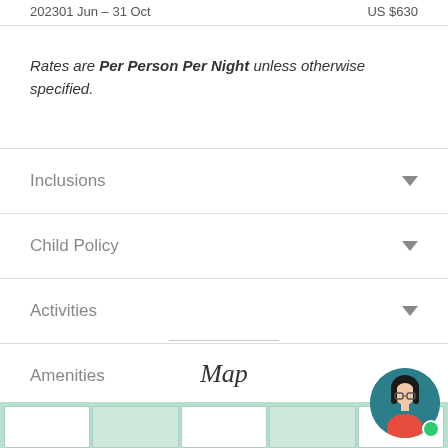2023  01 Jun – 31 Oct  US $630
Rates are Per Person Per Night unless otherwise specified.
Inclusions
Child Policy
Activities
Amenities
Map
[Figure (map): Map view showing geographic area with green terrain tiles]